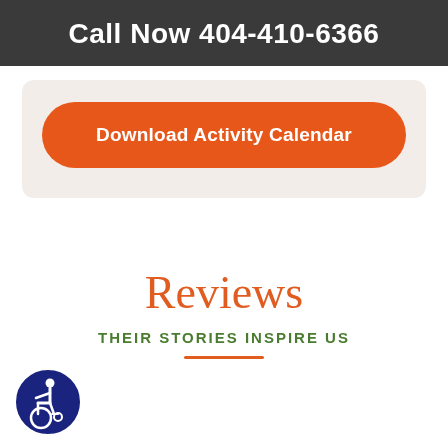Call Now 404-410-6366
Download Activity Calendar
Reviews
THEIR STORIES INSPIRE US
[Figure (logo): Accessibility icon: blue circle with wheelchair user symbol in white]